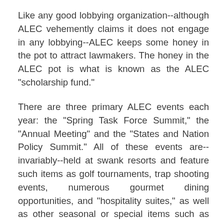Like any good lobbying organization--although ALEC vehemently claims it does not engage in any lobbying--ALEC keeps some honey in the pot to attract lawmakers. The honey in the ALEC pot is what is known as the ALEC "scholarship fund."
There are three primary ALEC events each year: the "Spring Task Force Summit," the "Annual Meeting" and the "States and Nation Policy Summit." All of these events are--invariably--held at swank resorts and feature such items as golf tournaments, trap shooting events, numerous gourmet dining opportunities, and "hospitality suites," as well as other seasonal or special items such as "holiday galas" and "cigar receptions." At these events, ALEC member lawmakers rub elbows with the private sector benefactors who foot the bill for the whole shebang. And, through ALEC "scholarship" funds, lawmakers